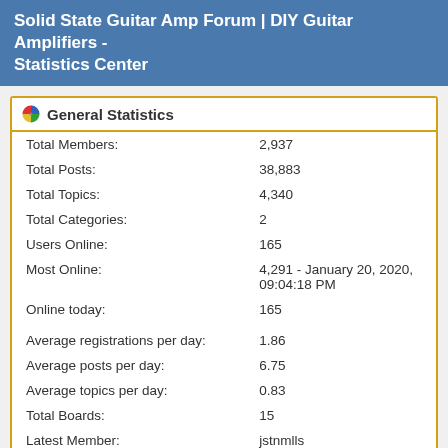Solid State Guitar Amp Forum | DIY Guitar Amplifiers - Statistics Center
General Statistics
|  |  |
| --- | --- |
| Total Members: | 2,937 |
| Total Posts: | 38,883 |
| Total Topics: | 4,340 |
| Total Categories: | 2 |
| Users Online: | 165 |
| Most Online: | 4,291 - January 20, 2020, 09:04:18 PM |
| Online today: | 165 |
| Average registrations per day: | 1.86 |
| Average posts per day: | 6.75 |
| Average topics per day: | 0.83 |
| Total Boards: | 15 |
| Latest Member: | jstnmlls |
| Average online per day: | 166.04 |